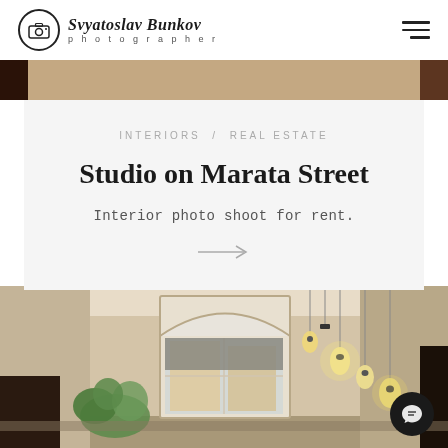Svyatoslav Bunkov photographer
INTERIORS / REAL ESTATE
Studio on Marata Street
Interior photo shoot for rent.
[Figure (photo): Interior photo of a studio apartment on Marata Street showing warm-lit room with arched windows, hanging Edison bulb pendants, green plants, and modern decor]
[Figure (other): Chat/message icon button in dark circle at bottom right]